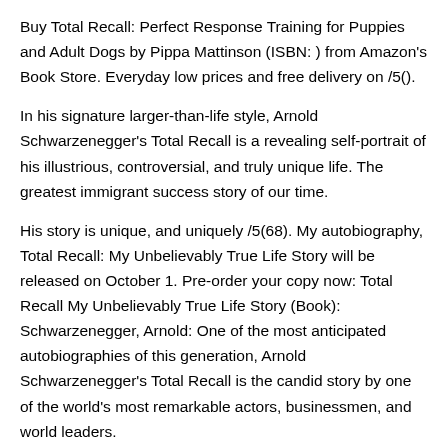Buy Total Recall: Perfect Response Training for Puppies and Adult Dogs by Pippa Mattinson (ISBN: ) from Amazon's Book Store. Everyday low prices and free delivery on /5().
In his signature larger-than-life style, Arnold Schwarzenegger's Total Recall is a revealing self-portrait of his illustrious, controversial, and truly unique life. The greatest immigrant success story of our time.
His story is unique, and uniquely /5(68). My autobiography, Total Recall: My Unbelievably True Life Story will be released on October 1. Pre-order your copy now: Total Recall My Unbelievably True Life Story (Book): Schwarzenegger, Arnold: One of the most anticipated autobiographies of this generation, Arnold Schwarzenegger's Total Recall is the candid story by one of the world's most remarkable actors, businessmen, and world leaders.
THE GREATEST IMMIGRANT SUCCESS STORY OF OUR TIME His story is unique, and uniquely. Total Recall is the unbelievably true story of Arnold Schwarzenegger's life. Born in the small city of Thal, Austria, inhe moved to Los Angeles at the age of Within ten years, he